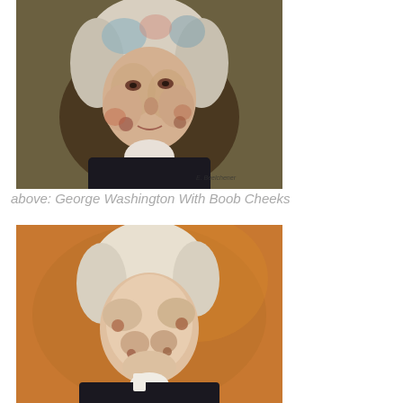[Figure (illustration): Painting of George Washington with surreally modified face features resembling boob cheeks, on a dark olive/brown background. Artist signature visible at bottom right.]
above: George Washington With Boob Cheeks
[Figure (illustration): Painting of another president (James Madison) with surreally modified face features resembling boob cheeks used as eyes and nose, on an orange/golden brown background, wearing a dark coat with white cravat.]